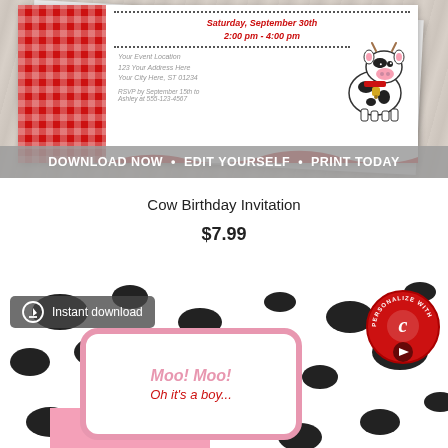[Figure (photo): Cow birthday party invitation card with red gingham pattern on the left side, a cartoon cow illustration on the right, and party details (Saturday, September 30th, 2:00 pm - 4:00 pm, event location, RSVP info) in the center on white background.]
DOWNLOAD NOW • EDIT YOURSELF • PRINT TODAY
Cow Birthday Invitation
$7.99
[Figure (photo): Cow print pattern invitation design with pink border Moo! Moo! text, instant download badge in top left, and Canva personalize badge in top right corner.]